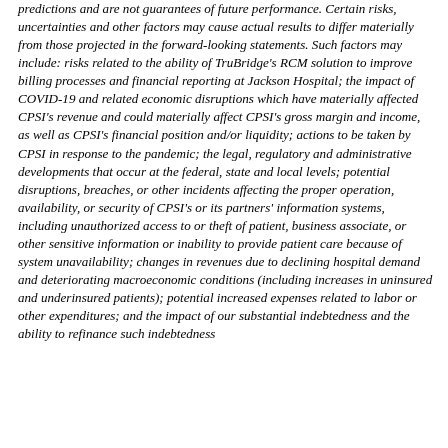predictions and are not guarantees of future performance. Certain risks, uncertainties and other factors may cause actual results to differ materially from those projected in the forward-looking statements. Such factors may include: risks related to the ability of TruBridge's RCM solution to improve billing processes and financial reporting at Jackson Hospital; the impact of COVID-19 and related economic disruptions which have materially affected CPSI's revenue and could materially affect CPSI's gross margin and income, as well as CPSI's financial position and/or liquidity; actions to be taken by CPSI in response to the pandemic; the legal, regulatory and administrative developments that occur at the federal, state and local levels; potential disruptions, breaches, or other incidents affecting the proper operation, availability, or security of CPSI's or its partners' information systems, including unauthorized access to or theft of patient, business associate, or other sensitive information or inability to provide patient care because of system unavailability; changes in revenues due to declining hospital demand and deteriorating macroeconomic conditions (including increases in uninsured and underinsured patients); potential increased expenses related to labor or other expenditures; and the impact of our substantial indebtedness and the ability to refinance such indebtedness